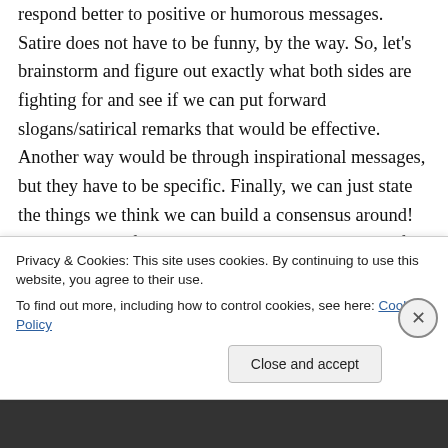respond better to positive or humorous messages. Satire does not have to be funny, by the way. So, let's brainstorm and figure out exactly what both sides are fighting for and see if we can put forward slogans/satirical remarks that would be effective. Another way would be through inspirational messages, but they have to be specific. Finally, we can just state the things we think we can build a consensus around! Maybe we can find a way to say that we're looking for a consensus that would suit everyone
Privacy & Cookies: This site uses cookies. By continuing to use this website, you agree to their use.
To find out more, including how to control cookies, see here: Cookie Policy